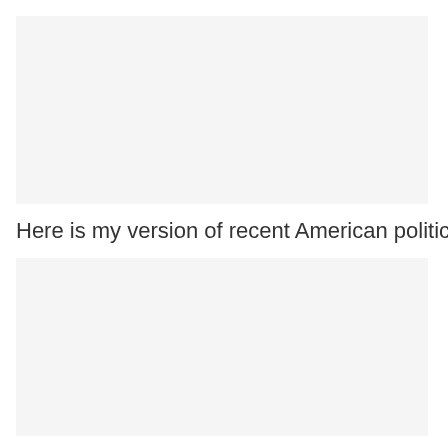[Figure (other): Light gray rectangular placeholder box at the top of the page]
Here is my version of recent American political history:
[Figure (other): Light gray rectangular placeholder box at the bottom of the page]